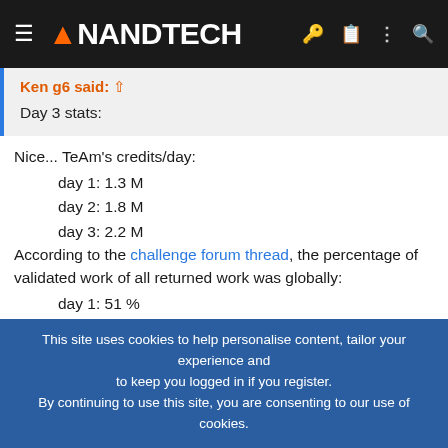AnandTech
Ken g6 said: ↑

Day 3 stats:
Nice... TeAm's credits/day:
day 1: 1.3 M
day 2: 1.8 M
day 3: 2.2 M
According to the challenge forum thread, the percentage of validated work of all returned work was globally:
day 1: 51 %
day 2: 64 %
day 3: 73 %
Assuming that percentage is also true for the TeAm's returned tasks,
This site uses cookies to help personalise content, tailor your experience and to keep you logged in if you register.
By continuing to use this site, you are consenting to our use of cookies.